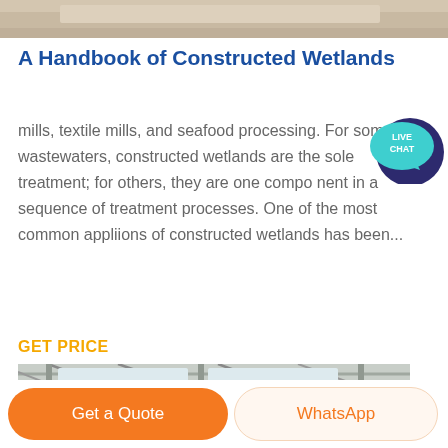[Figure (photo): Top partial image, appears to be an industrial or outdoor scene, cropped]
A Handbook of Constructed Wetlands
[Figure (infographic): Live Chat speech bubble icon in teal/dark blue]
mills, textile mills, and seafood processing. For some wastewaters, constructed wetlands are the sole treatment; for others, they are one compo nent in a sequence of treatment processes. One of the most common appliions of constructed wetlands has been...
GET PRICE
[Figure (photo): Interior of an industrial factory or warehouse with steel roof structure and green machinery/equipment on the floor]
Get a Quote
WhatsApp